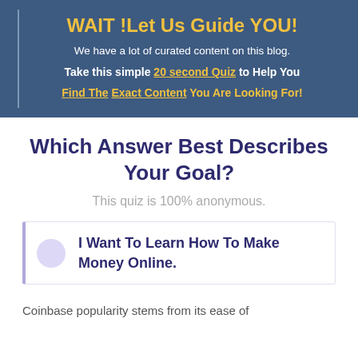WAIT !Let Us Guide YOU!
We have a lot of curated content on this blog.
Take this simple 20 second Quiz to Help You Find The Exact Content You Are Looking For!
Which Answer Best Describes Your Goal?
This quiz is 100% anonymous.
I Want To Learn How To Make Money Online.
Coinbase popularity stems from its ease of